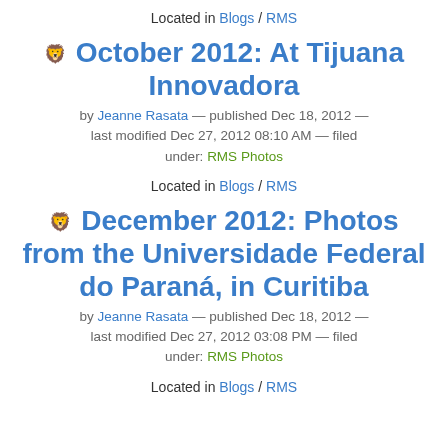Located in Blogs / RMS
October 2012: At Tijuana Innovadora
by Jeanne Rasata — published Dec 18, 2012 — last modified Dec 27, 2012 08:10 AM — filed under: RMS Photos
Located in Blogs / RMS
December 2012: Photos from the Universidade Federal do Paraná, in Curitiba
by Jeanne Rasata — published Dec 18, 2012 — last modified Dec 27, 2012 03:08 PM — filed under: RMS Photos
Located in Blogs / RMS